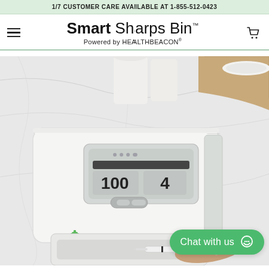1/7 CUSTOMER CARE AVAILABLE AT 1-855-512-0423
Smart Sharps Bin™ Powered by HEALTHBEACON®
[Figure (photo): Top-down photo of Smart Sharps Bin device on a marble countertop. The white medical device has a digital display showing '100' and '4', a small button panel, and a Hamilton Beach Health logo. A hand is inserting a syringe into the bottom slot. White cups and plates visible in background. A green 'Chat with us' button overlay appears at bottom right.]